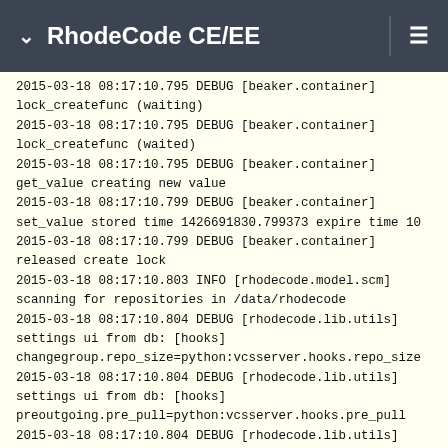RhodeCode CE/EE
2015-03-18 08:17:10.795 DEBUG [beaker.container] lock_createfunc (waiting)
2015-03-18 08:17:10.795 DEBUG [beaker.container] lock_createfunc (waited)
2015-03-18 08:17:10.795 DEBUG [beaker.container] get_value creating new value
2015-03-18 08:17:10.799 DEBUG [beaker.container] set_value stored time 1426691830.799373 expire time 10
2015-03-18 08:17:10.799 DEBUG [beaker.container] released create lock
2015-03-18 08:17:10.803 INFO [rhodecode.model.scm] scanning for repositories in /data/rhodecode
2015-03-18 08:17:10.804 DEBUG [rhodecode.lib.utils] settings ui from db: [hooks] changegroup.repo_size=python:vcsserver.hooks.repo_size
2015-03-18 08:17:10.804 DEBUG [rhodecode.lib.utils] settings ui from db: [hooks] preoutgoing.pre_pull=python:vcsserver.hooks.pre_pull
2015-03-18 08:17:10.804 DEBUG [rhodecode.lib.utils] settings ui from db: [hooks]
outgoing.pull_logger=python:vcsserver.hooks.log_pull_action